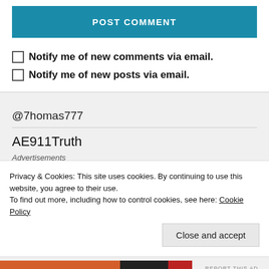[Figure (screenshot): Blue POST COMMENT button]
Notify me of new comments via email.
Notify me of new posts via email.
@7homas777
AE911Truth
Advertisements
Privacy & Cookies: This site uses cookies. By continuing to use this website, you agree to their use.
To find out more, including how to control cookies, see here: Cookie Policy
Close and accept